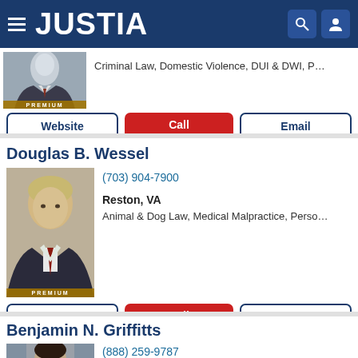JUSTIA
Criminal Law, Domestic Violence, DUI & DWI, P…
Website | Call | Email
Douglas B. Wessel
(703) 904-7900
Reston, VA
Animal & Dog Law, Medical Malpractice, Perso…
Website | Call | Email
Benjamin N. Griffitts
(888) 259-9787